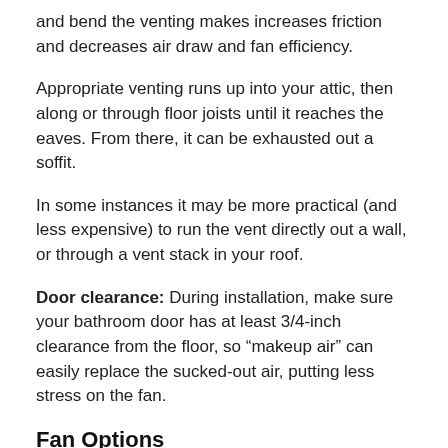and bend the venting makes increases friction and decreases air draw and fan efficiency.
Appropriate venting runs up into your attic, then along or through floor joists until it reaches the eaves. From there, it can be exhausted out a soffit.
In some instances it may be more practical (and less expensive) to run the vent directly out a wall, or through a vent stack in your roof.
Door clearance: During installation, make sure your bathroom door has at least 3/4-inch clearance from the floor, so “make up air” can easily replace the sucked-out air, putting less stress on the fan.
Fan Options